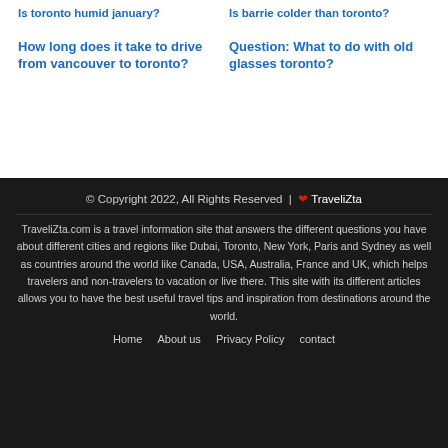Is toronto humid january?
Is barrie colder than toronto?
How long does it take to drive from vancouver to toronto?
Question: What to do with old glasses toronto?
© Copyright 2022, All Rights Reserved | ❤ TraveliZta

TraveliZta.com is a travel information site that answers the different questions you have about different cities and regions like Dubai, Toronto, New York, Paris and Sydney as well as countries around the world like Canada, USA, Australia, France and UK, which helps travelers and non-travelers to vacation or live there. This site with its different articles allows you to have the best useful travel tips and inspiration from destinations around the world.

Home   About us   Privacy Policy   contact